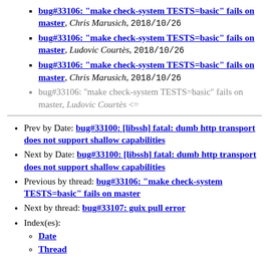bug#33106: "make check-system TESTS=basic" fails on master, Chris Marusich, 2018/10/26
bug#33106: "make check-system TESTS=basic" fails on master, Ludovic Courtès, 2018/10/26
bug#33106: "make check-system TESTS=basic" fails on master, Chris Marusich, 2018/10/26
bug#33106: "make check-system TESTS=basic" fails on master, Ludovic Courtès <=
Prev by Date: bug#33100: [libssh] fatal: dumb http transport does not support shallow capabilities
Next by Date: bug#33100: [libssh] fatal: dumb http transport does not support shallow capabilities
Previous by thread: bug#33106: "make check-system TESTS=basic" fails on master
Next by thread: bug#33107: guix pull error
Index(es): Date, Thread